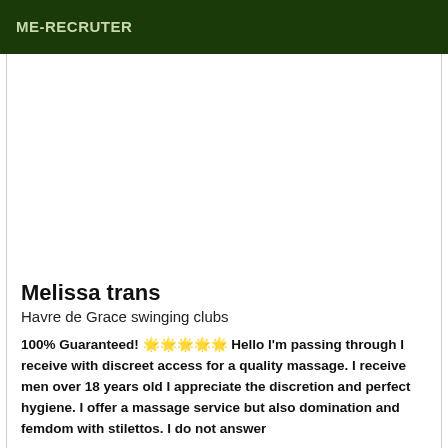ME-RECRUTER
Melissa trans
Havre de Grace swinging clubs
100% Guaranteed! 🌟🌟🌟🌟🌟 Hello I'm passing through I receive with discreet access for a quality massage. I receive men over 18 years old I appreciate the discretion and perfect hygiene. I offer a massage service but also domination and femdom with stilettos. I do not answer